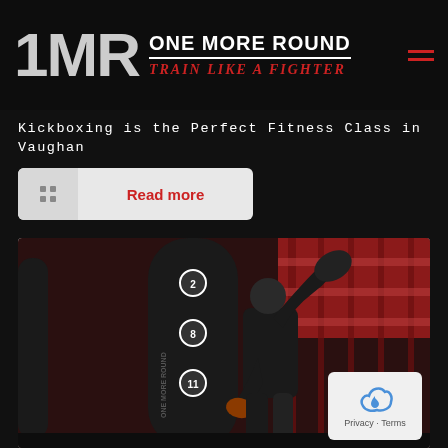[Figure (logo): 1MR One More Round - Train Like a Fighter logo with large stylized 1MR text in grey and white, red underline, red italic subtitle]
Kickboxing is the Perfect Fitness Class in Vaughan
Read more
[Figure (photo): Person in black outfit and boxing gloves training on a large black punching bag with numbers on it, red industrial gym interior background]
Privacy · Terms